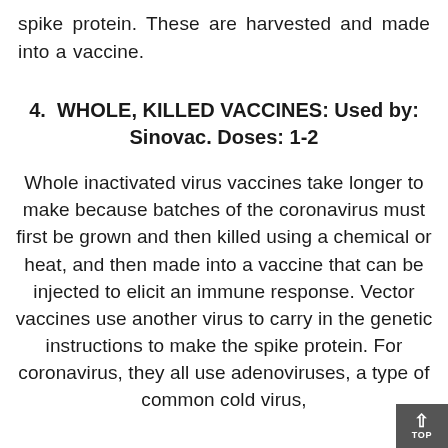spike protein. These are harvested and made into a vaccine.
4.  WHOLE, KILLED VACCINES: Used by: Sinovac. Doses: 1-2
Whole inactivated virus vaccines take longer to make because batches of the coronavirus must first be grown and then killed using a chemical or heat, and then made into a vaccine that can be injected to elicit an immune response. Vector vaccines use another virus to carry in the genetic instructions to make the spike protein. For coronavirus, they all use adenoviruses, a type of common cold virus,